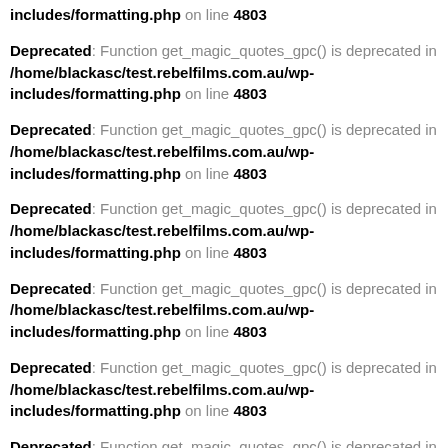includes/formatting.php on line 4803
Deprecated: Function get_magic_quotes_gpc() is deprecated in /home/blackasc/test.rebelfilms.com.au/wp-includes/formatting.php on line 4803
Deprecated: Function get_magic_quotes_gpc() is deprecated in /home/blackasc/test.rebelfilms.com.au/wp-includes/formatting.php on line 4803
Deprecated: Function get_magic_quotes_gpc() is deprecated in /home/blackasc/test.rebelfilms.com.au/wp-includes/formatting.php on line 4803
Deprecated: Function get_magic_quotes_gpc() is deprecated in /home/blackasc/test.rebelfilms.com.au/wp-includes/formatting.php on line 4803
Deprecated: Function get_magic_quotes_gpc() is deprecated in /home/blackasc/test.rebelfilms.com.au/wp-includes/formatting.php on line 4803
Deprecated: Function get_magic_quotes_gpc() is deprecated in